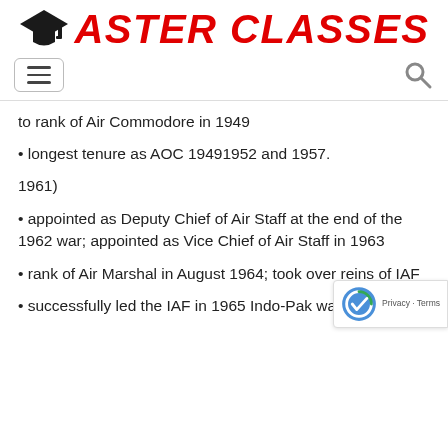[Figure (logo): Aster Classes logo with graduation cap icon and red italic bold text 'ASTER CLASSES']
to rank of Air Commodore in 1949
• longest tenure as AOC 19491952 and 1957.
1961)
• appointed as Deputy Chief of Air Staff at the end of the 1962 war; appointed as Vice Chief of Air Staff in 1963
• rank of Air Marshal in August 1964; took over reins of IAF
• successfully led the IAF in 1965 Indo-Pak war